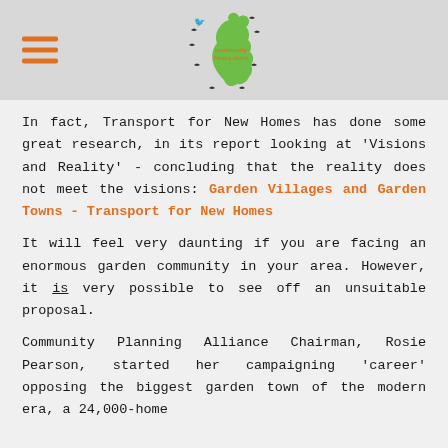[Figure (logo): Community Planning Alliance logo: green UK map shape with birds flying, orange text 'community' in center]
In fact, Transport for New Homes has done some great research, in its report looking at 'Visions and Reality' - concluding that the reality does not meet the visions: Garden Villages and Garden Towns - Transport for New Homes
It will feel very daunting if you are facing an enormous garden community in your area. However, it is very possible to see off an unsuitable proposal.
Community Planning Alliance Chairman, Rosie Pearson, started her campaigning 'career' opposing the biggest garden town of the modern era, a 24,000-home